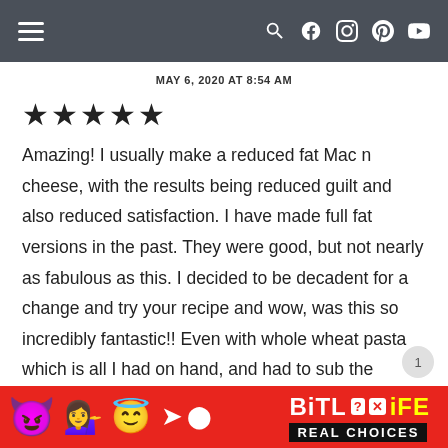Navigation bar with hamburger menu and social icons
MAY 6, 2020 AT 8:54 AM
[Figure (other): Five filled star rating icons]
Amazing! I usually make a reduced fat Mac n cheese, with the results being reduced guilt and also reduced satisfaction. I have made full fat versions in the past. They were good, but not nearly as fabulous as this. I decided to be decadent for a change and try your recipe and wow, was this so incredibly fantastic!! Even with whole wheat pasta which is all I had on hand, and had to sub the evaporated milk
[Figure (infographic): BitLife REAL CHOICES advertisement banner with emoji characters (devil, person with raised hands, angel) and BitLife logo on red background]